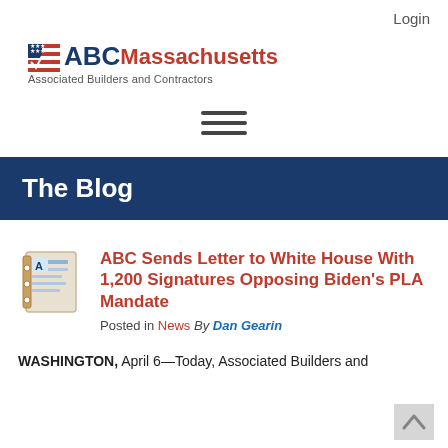Login
[Figure (logo): ABC Massachusetts Associated Builders and Contractors logo with flag icon]
[Figure (other): Hamburger menu icon (three horizontal lines)]
The Blog
ABC Sends Letter to White House With 1,200 Signatures Opposing Biden's PLA Mandate
Posted in News By Dan Gearin
WASHINGTON, April 6—Today, Associated Builders and